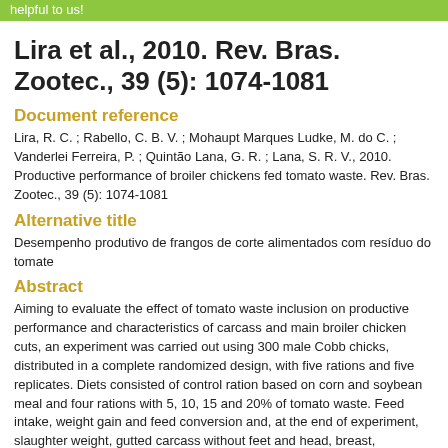helpful to us!
Lira et al., 2010. Rev. Bras. Zootec., 39 (5): 1074-1081
Document reference
Lira, R. C. ; Rabello, C. B. V. ; Mohaupt Marques Ludke, M. do C. ; Vanderlei Ferreira, P. ; Quintão Lana, G. R. ; Lana, S. R. V., 2010. Productive performance of broiler chickens fed tomato waste. Rev. Bras. Zootec., 39 (5): 1074-1081
Alternative title
Desempenho produtivo de frangos de corte alimentados com resíduo do tomate
Abstract
Aiming to evaluate the effect of tomato waste inclusion on productive performance and characteristics of carcass and main broiler chicken cuts, an experiment was carried out using 300 male Cobb chicks, distributed in a complete randomized design, with five rations and five replicates. Diets consisted of control ration based on corn and soybean meal and four rations with 5, 10, 15 and 20% of tomato waste. Feed intake, weight gain and feed conversion and, at the end of experiment, slaughter weight, gutted carcass without feet and head, breast, drumstick, thigh, wing, back, edible guts and belly fat were evaluated